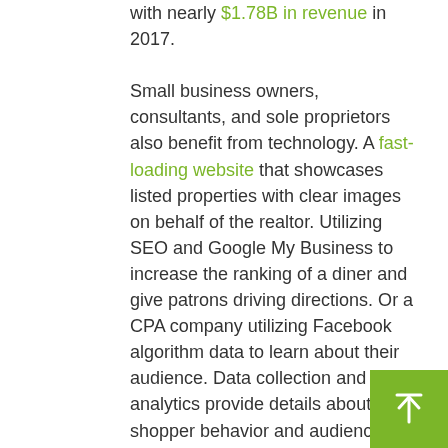with nearly $1.78B in revenue in 2017.

Small business owners, consultants, and sole proprietors also benefit from technology. A fast-loading website that showcases listed properties with clear images on behalf of the realtor. Utilizing SEO and Google My Business to increase the ranking of a diner and give patrons driving directions. Or a CPA company utilizing Facebook algorithm data to learn about their audience. Data collection and digital analytics provide details about shopper behavior and audience interaction which play a critical role in building targeted marketing campaigns.